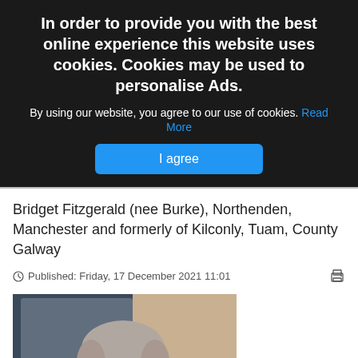In order to provide you with the best online experience this website uses cookies. Cookies may be used to personalise Ads.
By using our website, you agree to our use of cookies. Read More
I agree
Bridget Fitzgerald (nee Burke), Northenden, Manchester and formerly of Kilconly, Tuam, County Galway
Published: Friday, 17 December 2021 11:01
[Figure (photo): Portrait photo of an elderly woman with short grey hair, wearing a light blue top, smiling gently at the camera]